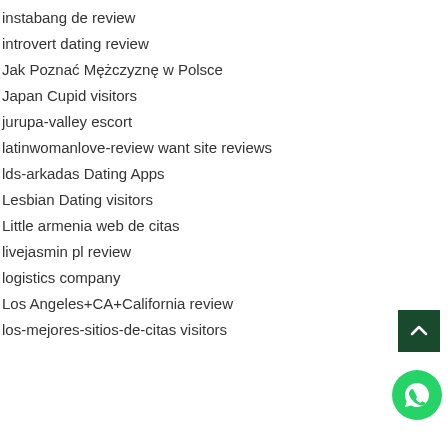instabang de review
introvert dating review
Jak Poznać Mężczyznę w Polsce
Japan Cupid visitors
jurupa-valley escort
latinwomanlove-review want site reviews
lds-arkadas Dating Apps
Lesbian Dating visitors
Little armenia web de citas
livejasmin pl review
logistics company
Los Angeles+CA+California review
los-mejores-sitios-de-citas visitors
[Figure (other): Back to top button — dark green square with upward chevron arrow]
[Figure (other): WhatsApp contact button — green circle with phone handset icon]